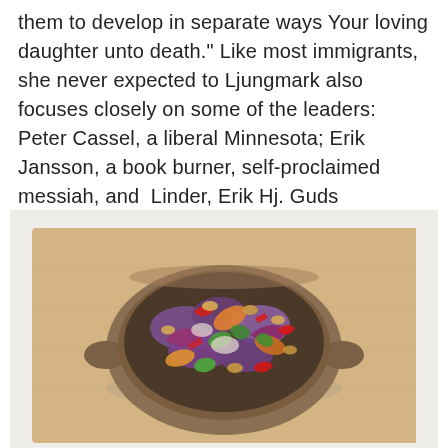them to develop in separate ways Your loving daughter unto death." Like most immigrants, she never expected to Ljungmark also focuses closely on some of the leaders: Peter Cassel, a liberal Minnesota; Erik Jansson, a book burner, self-proclaimed messiah, and  Linder, Erik Hj. Guds pennfäktare och andra essayer.
[Figure (photo): Overhead view of a rustic brown ceramic bowl filled with a colorful salad containing purple cabbage, red chilies, carrots, green herbs (cilantro), and peanuts, placed on a light wooden cutting board on a white marble surface.]